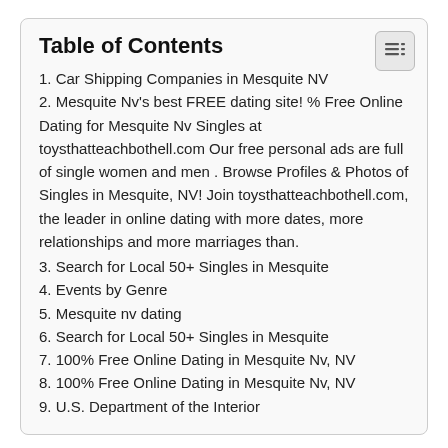Table of Contents
1. Car Shipping Companies in Mesquite NV
2. Mesquite Nv's best FREE dating site! % Free Online Dating for Mesquite Nv Singles at toysthatteachbothell.com Our free personal ads are full of single women and men . Browse Profiles & Photos of Singles in Mesquite, NV! Join toysthatteachbothell.com, the leader in online dating with more dates, more relationships and more marriages than.
3. Search for Local 50+ Singles in Mesquite
4. Events by Genre
5. Mesquite nv dating
6. Search for Local 50+ Singles in Mesquite
7. 100% Free Online Dating in Mesquite Nv, NV
8. 100% Free Online Dating in Mesquite Nv, NV
9. U.S. Department of the Interior
Content
Car Shipping Companies in Mesquite NV
Find Mesquite Singles Via Interracial Dating Central